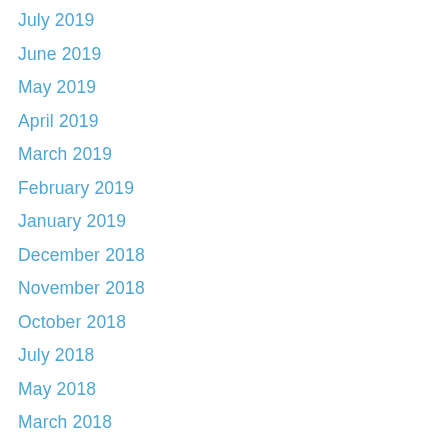July 2019
June 2019
May 2019
April 2019
March 2019
February 2019
January 2019
December 2018
November 2018
October 2018
July 2018
May 2018
March 2018
February 2018
January 2018
December 2017
November 2017
October 2017
September 2017
August 2017